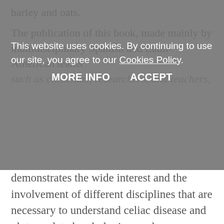barley and oats.
This website uses cookies. By continuing to use our site, you agree to our Cookies Policy.
MORE INFO    ACCEPT
The publication of this book, made mainly by multidisciplinary Spanish and Latin-American teams such as clinicians, researchers, and teachers, demonstrates the wide interest and the involvement of different disciplines that are necessary to understand celiac disease and gluten-related pathologies, such as non-celiac gluten-sensitivity. This has a great impact in the general public and in the industry. However, the knowledge of non-celiac gluten-related pathologies remains scarce but presently in the process of being properly defined.
This book also highlights the importance of recognizing non-celiac gluten-sensitivity and briefly discusses a new